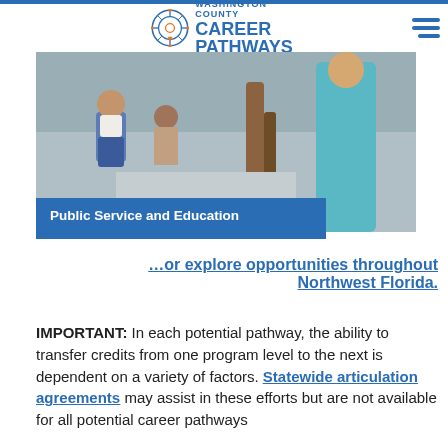Washington County Career Pathways
[Figure (photo): Children sitting on a floor in a classroom setting with an adult nearby, educational environment]
Public Service and Education
…or explore opportunities throughout Northwest Florida.
IMPORTANT: In each potential pathway, the ability to transfer credits from one program level to the next is dependent on a variety of factors. Statewide articulation agreements may assist in these efforts but are not available for all potential career pathways